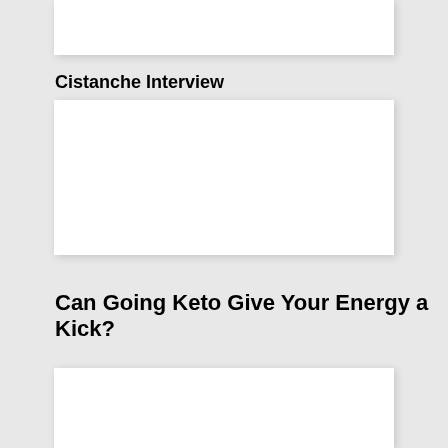[Figure (other): White card/thumbnail placeholder at top]
Cistanche Interview
[Figure (other): White card/thumbnail placeholder in middle]
Can Going Keto Give Your Energy a Kick?
[Figure (other): White card/thumbnail placeholder at bottom]